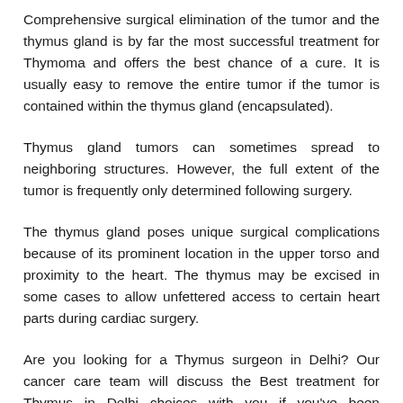Comprehensive surgical elimination of the tumor and the thymus gland is by far the most successful treatment for Thymoma and offers the best chance of a cure. It is usually easy to remove the entire tumor if the tumor is contained within the thymus gland (encapsulated).
Thymus gland tumors can sometimes spread to neighboring structures. However, the full extent of the tumor is frequently only determined following surgery.
The thymus gland poses unique surgical complications because of its prominent location in the upper torso and proximity to the heart. The thymus may be excised in some cases to allow unfettered access to certain heart parts during cardiac surgery.
Are you looking for a Thymus surgeon in Delhi? Our cancer care team will discuss the Best treatment for Thymus in Delhi choices with you if you've been diagnosed with thymus cancer. It's critical